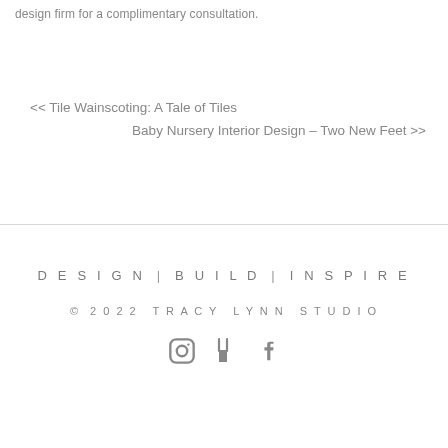design firm for a complimentary consultation.
<< Tile Wainscoting: A Tale of Tiles
Baby Nursery Interior Design – Two New Feet >>
DESIGN  |  BUILD  |  INSPIRE
© 2022 TRACY LYNN STUDIO